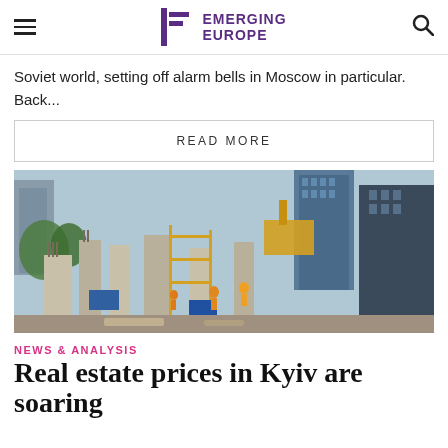EMERGING EUROPE
Soviet world, setting off alarm bells in Moscow in particular. Back...
READ MORE
[Figure (photo): Construction site in Kyiv showing workers on scaffolding with modern high-rise buildings in the background]
NEWS & ANALYSIS
Real estate prices in Kyiv are soaring